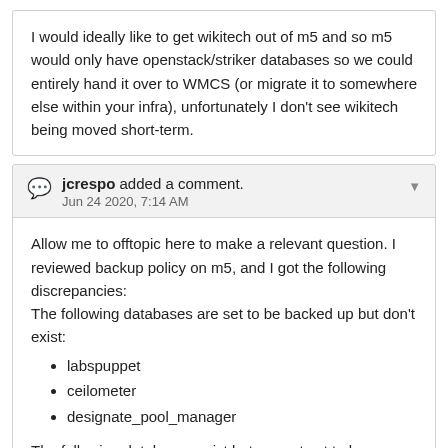I would ideally like to get wikitech out of m5 and so m5 would only have openstack/striker databases so we could entirely hand it over to WMCS (or migrate it to somewhere else within your infra), unfortunately I don't see wikitech being moved short-term.
jcrespo added a comment. Jun 24 2020, 7:14 AM
Allow me to offtopic here to make a relevant question. I reviewed backup policy on m5, and I got the following discrepancies:
The following databases are set to be backed up but don't exist:
labspuppet
ceilometer
designate_pool_manager
The following databases exist but are not set to be backed up:
test_labsdbaccounts
Could you clarify this and if we should change the backup policy to